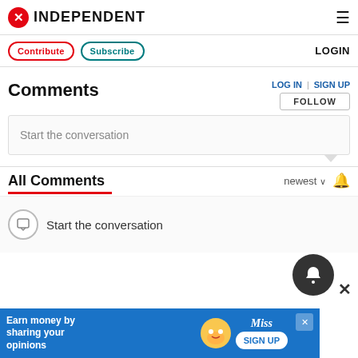INDEPENDENT
Contribute | Subscribe | LOGIN
Comments
LOG IN | SIGN UP
FOLLOW
Start the conversation
All Comments
newest
Start the conversation
[Figure (screenshot): Advertisement banner: Earn money by sharing your opinions - Miss Rewards SIGN UP]
Earn money by sharing your opinions